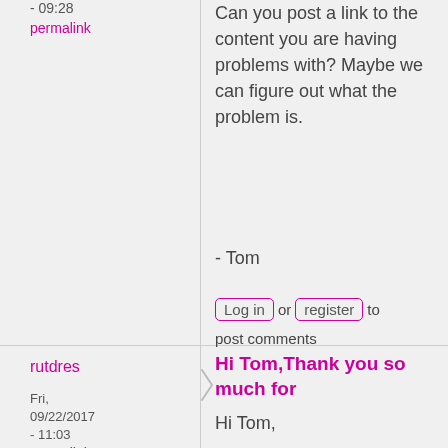- 09:28
permalink
Can you post a link to the content you are having problems with? Maybe we can figure out what the problem is.

- Tom
Log in or register to post comments
rutdres
Fri, 09/22/2017 - 11:03
permalink
Hi Tom,Thank you so much for
Hi Tom,